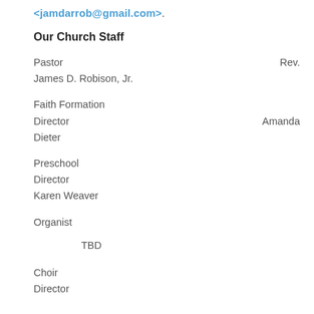<jamdarrob@gmail.com>.
Our Church Staff
Pastor                                          Rev. James D. Robison, Jr.
Faith Formation Director                        Amanda Dieter
Preschool Director
Karen Weaver
Organist
TBD
Choir Director